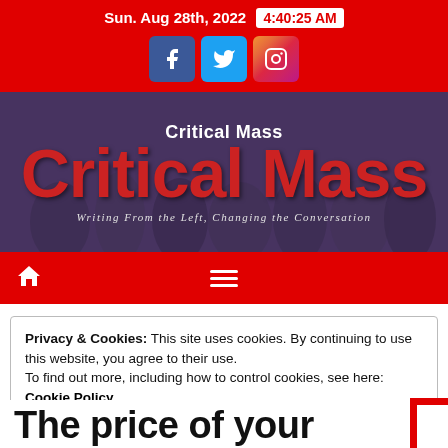Sun. Aug 28th, 2022  4:40:25 AM
[Figure (screenshot): Critical Mass website banner with crowd background, title 'Critical Mass' and subtitle 'Writing From the Left, Changing the Conversation']
Critical Mass
Writing From the Left, Changing the Conversation
Privacy & Cookies: This site uses cookies. By continuing to use this website, you agree to their use.
To find out more, including how to control cookies, see here: Cookie Policy
Close and accept
The price of your